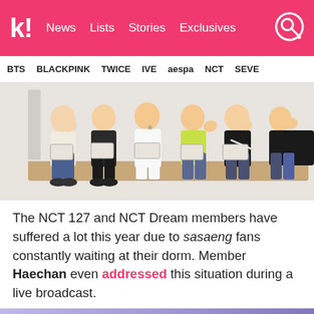k! News Lists Stories Exclusives
BTS  BLACKPINK  TWICE  IVE  aespa  NCT  SEVE
[Figure (photo): Group photo of NCT 127 and NCT Dream members seated, waving at the camera in a studio setting.]
The NCT 127 and NCT Dream members have suffered a lot this year due to sasaeng fans constantly waiting at their dorm. Member Haechan even addressed this situation during a live broadcast.
[Figure (photo): Partial view of a purple-toned image, partially cut off at the bottom of the page, with a watermark reading 'Milk Bubbles'.]